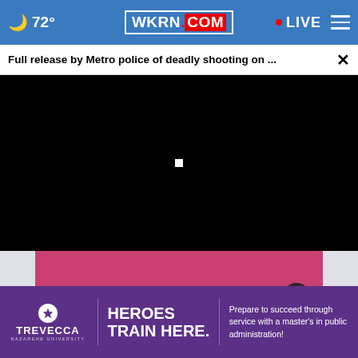🌙 72° | WKRN.COM | LIVE
Full release by Metro police of deadly shooting on ... ×
[Figure (screenshot): Black video player area with loading spinner]
[Figure (photo): Person wearing pink top and jeans, torso visible from waist up]
[Figure (advertisement): Trevecca Nazarene University ad: HEROES TRAIN HERE. Prepare to succeed through service with a master's in public administration!]